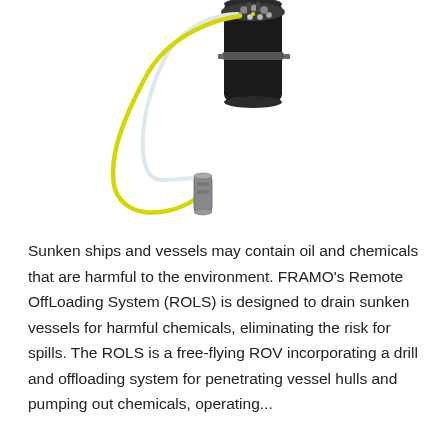[Figure (photo): A close-up photo of an underwater drill/connector device (part of FRAMO's Remote OffLoading System ROLS) on a white background. The device is a cylindrical black body with a multi-port connector head at the top featuring several metal fittings and ports. A clear/white thin tube and a yellow tube extend from the connector head and loop down to a small metal cylindrical probe at the bottom. The assembly is photographed against a plain white background.]
Sunken ships and vessels may contain oil and chemicals that are harmful to the environment. FRAMO's Remote OffLoading System (ROLS) is designed to drain sunken vessels for harmful chemicals, eliminating the risk for spills. The ROLS is a free-flying ROV incorporating a drill and offloading system for penetrating vessel hulls and pumping out chemicals, operating...